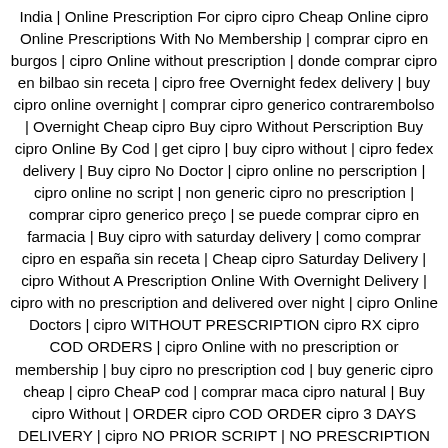India | Online Prescription For cipro cipro Cheap Online cipro Online Prescriptions With No Membership | comprar cipro en burgos | cipro Online without prescription | donde comprar cipro en bilbao sin receta | cipro free Overnight fedex delivery | buy cipro online overnight | comprar cipro generico contrarembolso | Overnight Cheap cipro Buy cipro Without Perscription Buy cipro Online By Cod | get cipro | buy cipro without | cipro fedex delivery | Buy cipro No Doctor | cipro online no perscription | cipro online no script | non generic cipro no prescription | comprar cipro generico preço | se puede comprar cipro en farmacia | Buy cipro with saturday delivery | como comprar cipro en españa sin receta | Cheap cipro Saturday Delivery | cipro Without A Prescription Online With Overnight Delivery | cipro with no prescription and delivered over night | cipro Online Doctors | cipro WITHOUT PRESCRIPTION cipro RX cipro COD ORDERS | cipro Online with no prescription or membership | buy cipro no prescription cod | buy generic cipro cheap | cipro CheaP cod | comprar maca cipro natural | Buy cipro Without | ORDER cipro COD ORDER cipro 3 DAYS DELIVERY | cipro NO PRIOR SCRIPT | NO PRESCRIPTION REQUIRED FOR cipro | cipro Buy fedex | comprar genericos cipro | cipro femenina comprar | Non Prescription Cheap cipro | Order Prescription Free cipro | comprar cipro seguro en españa | donde comprar cipro en cadiz | buy real cipro | Buy cipro Without | quiero comprar cipro | order cipro without prescription from us pharmacy | Buy Best Pill cipro Free